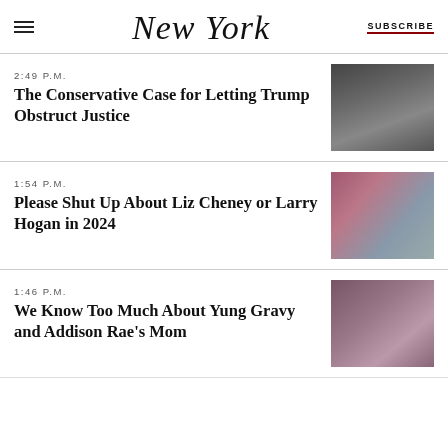New York | SUBSCRIBE
2:49 P.M.
The Conservative Case for Letting Trump Obstruct Justice
[Figure (photo): Black and white photo of a man in a suit, likely Trump, looking upward]
1:54 P.M.
Please Shut Up About Liz Cheney or Larry Hogan in 2024
[Figure (photo): Color photo of a woman in a blue top standing outdoors with people in the background]
1:46 P.M.
We Know Too Much About Yung Gravy and Addison Rae's Mom
[Figure (photo): Color photo of a young man and a woman posing together indoors]